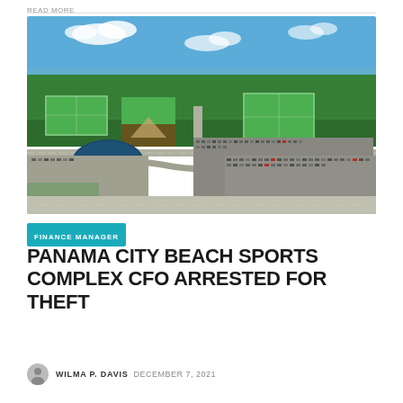READ MORE
[Figure (photo): Aerial drone photograph of Panama City Beach Sports Complex showing multiple green sports fields, parking lots filled with cars, a small pond, and surrounding dense forest with blue sky and water in the background.]
FINANCE MANAGER
PANAMA CITY BEACH SPORTS COMPLEX CFO ARRESTED FOR THEFT
WILMA P. DAVIS  DECEMBER 7, 2021